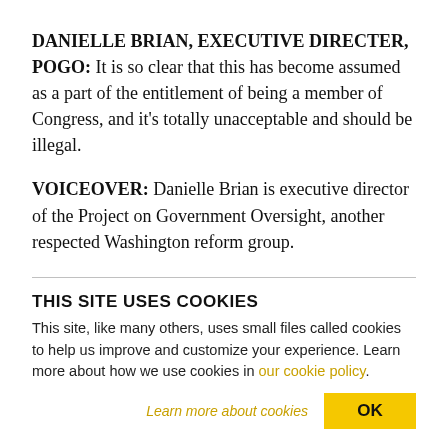DANIELLE BRIAN, EXECUTIVE DIRECTER, POGO: It is so clear that this has become assumed as a part of the entitlement of being a member of Congress, and it's totally unacceptable and should be illegal.
VOICEOVER: Danielle Brian is executive director of the Project on Government Oversight, another respected Washington reform group.
THIS SITE USES COOKIES
This site, like many others, uses small files called cookies to help us improve and customize your experience. Learn more about how we use cookies in our cookie policy.
Learn more about cookies   OK